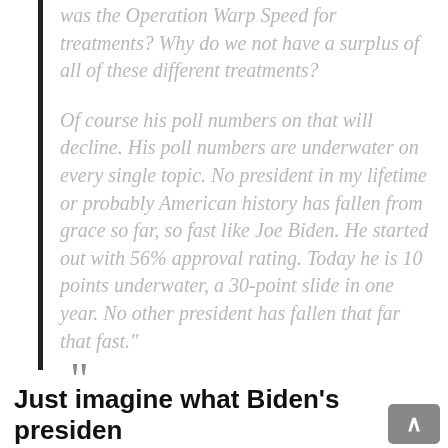was the Operation Warp Speed for treatments? Why do we not have a surplus of all of these different treatments?
Of course his poll numbers on that will decline. His poll numbers are underwater on every single topic. No president in my lifetime or probably American history has fallen from grace so far, so fast like Joe Biden. He started out with 56% approval rating. Today he is 10 points underwater, a 30-point slide in one year. No other president has fallen that far that fast."
Just imagine what Biden's presiden...